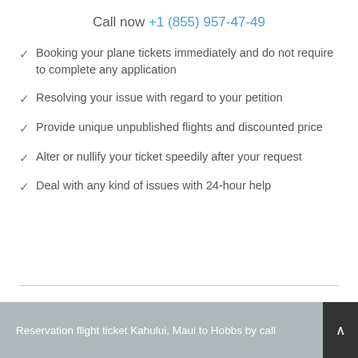Call now +1 (855) 957-47-49
Booking your plane tickets immediately and do not require to complete any application
Resolving your issue with regard to your petition
Provide unique unpublished flights and discounted price
Alter or nullify your ticket speedily after your request
Deal with any kind of issues with 24-hour help
Reservation flight ticket Kahului, Maui to Hobbs by call